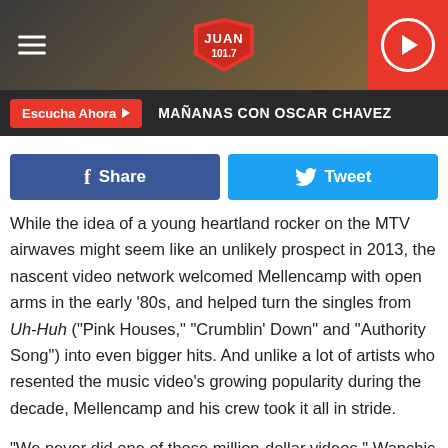Juan 101.7 — MAÑANAS CON OSCAR CHAVEZ
Share  Tweet
While the idea of a young heartland rocker on the MTV airwaves might seem like an unlikely prospect in 2013, the nascent video network welcomed Mellencamp with open arms in the early '80s, and helped turn the singles from Uh-Huh ("Pink Houses," "Crumblin' Down" and "Authority Song") into even bigger hits. And unlike a lot of artists who resented the music video's growing popularity during the decade, Mellencamp and his crew took it all in stride.
"We never did one of those million-dollar videos," Wanchic recalls. "They're all pretty low-tech, they were all filmed out